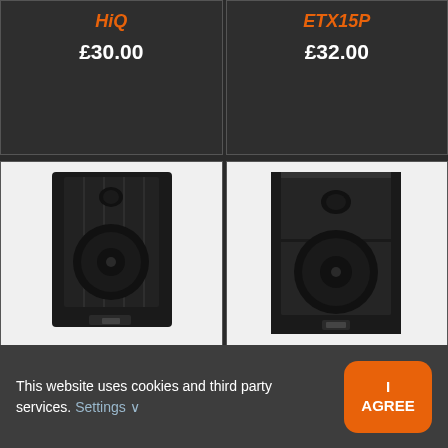HiQ
£30.00
ETX15P
£32.00
[Figure (photo): Black PA speaker cabinet - Electrovoice ELX112]
Electrovoice ELX112
£18.00 (partially obscured)
[Figure (photo): Black PA speaker cabinet - Electrovoice ZLX15P]
Electrovoice ZLX15P
£33.00 (partially obscured)
This website uses cookies and third party services. Settings ∨
I AGREE